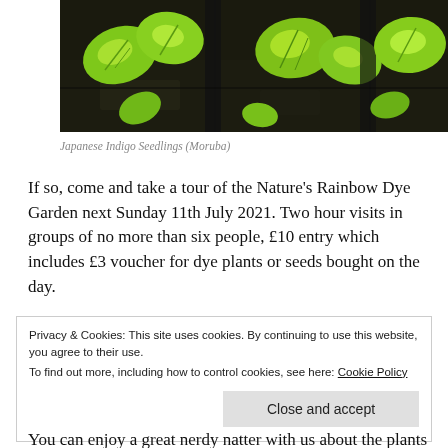[Figure (photo): Overhead photo of green Japanese Indigo seedlings (Moruba) growing in dark soil in plant trays.]
Japanese Indigo Seedlings (Moruba)
If so, come and take a tour of the Nature's Rainbow Dye Garden next Sunday 11th July 2021. Two hour visits in groups of no more than six people, £10 entry which includes £3 voucher for dye plants or seeds bought on the day.
Privacy & Cookies: This site uses cookies. By continuing to use this website, you agree to their use.
To find out more, including how to control cookies, see here: Cookie Policy
You can enjoy a great nerdy natter with us about the plants